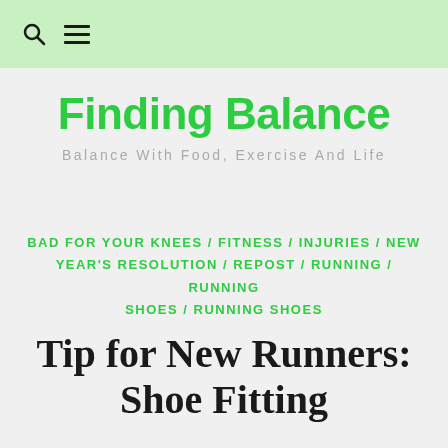Finding Balance — navigation header with search and menu icons
Finding Balance
Balance With Food, Exercise And Life
BAD FOR YOUR KNEES / FITNESS / INJURIES / NEW YEAR'S RESOLUTION / REPOST / RUNNING / RUNNING SHOES / RUNNING SHOES
Tip for New Runners: Shoe Fitting